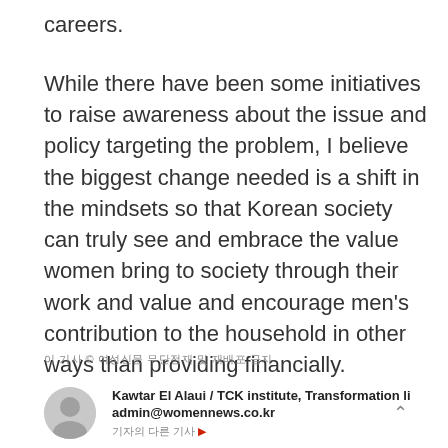careers.
While there have been some initiatives to raise awareness about the issue and policy targeting the problem, I believe the biggest change needed is a shift in the mindsets so that Korean society can truly see and embrace the value women bring to society through their work and value and encourage men's contribution to the household in other ways than providing financially.
이 기사 © 여성신문 무단전재 및 재배포 금지
Kawtar El Alaui / TCK institute, Transformation li
admin@womennews.co.kr
기자의 다른 기사 ▶